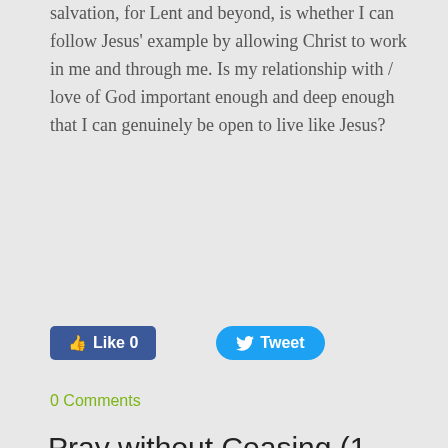salvation, for Lent and beyond, is whether I can follow Jesus' example by allowing Christ to work in me and through me. Is my relationship with / love of God important enough and deep enough that I can genuinely be open to live like Jesus?
Like 0   Tweet
0 Comments
Pray without Ceasing (1 Thessalonians 5:17)
1/28/2015   0 Comments
Recently I was asked to come up with a list of questions and facilitate the discussion on prayer with our Sunday Adult Enrichment community at my parish. I would like to share these questions and how the responses of our group lead us to realize how to follow St. Paul's advise to